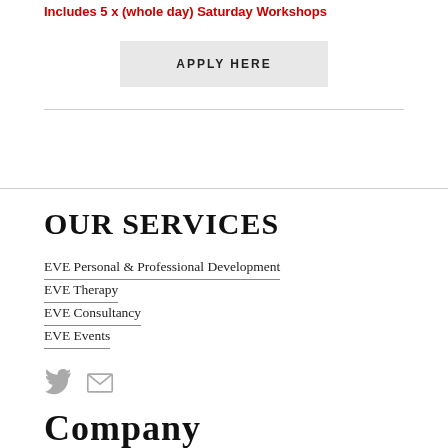Includes 5 x (whole day) Saturday Workshops
APPLY HERE
OUR SERVICES
EVE Personal & Professional Development
EVE Therapy
EVE Consultancy
EVE Events
[Figure (illustration): Twitter bird icon and mail/envelope icon]
Company